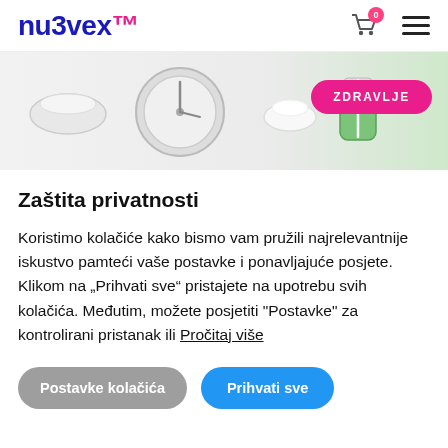nu3vex™
[Figure (photo): Hero banner with kitchen/health items (timer, bowl, green smoothie jar) on white background, with pink ZDRAVLJE button overlay]
Zaštita privatnosti
Koristimo kolačiće kako bismo vam pružili najrelevantnije iskustvo pamteći vaše postavke i ponavljajuće posjete. Klikom na „Prihvati sve" pristajete na upotrebu svih kolačića. Međutim, možete posjetiti "Postavke" za kontrolirani pristanak ili Pročitaj više
Postavke kolačića | Prihvati sve